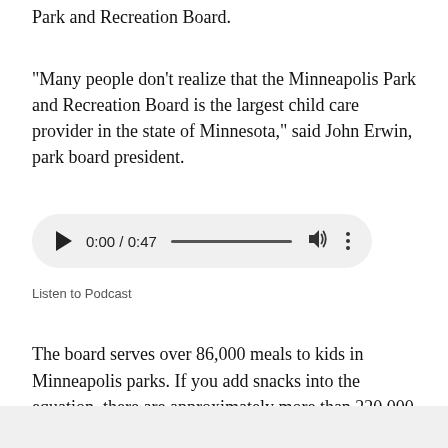Park and Recreation Board.
"Many people don't realize that the Minneapolis Park and Recreation Board is the largest child care provider in the state of Minnesota," said John Erwin, park board president.
[Figure (other): Audio player widget showing play button, time display 0:00 / 0:47, progress bar, volume icon, and more options icon]
Listen to Podcast
The board serves over 86,000 meals to kids in Minneapolis parks. If you add snacks into the equation, there are approximately more than 220,000 food opportunities.